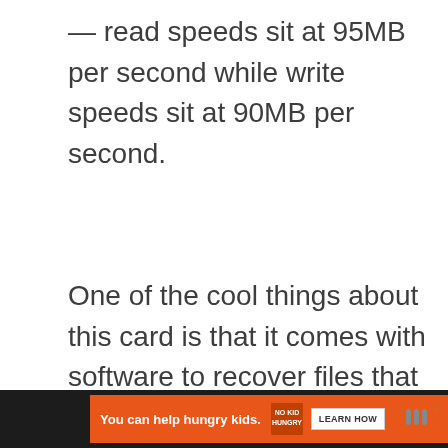— read speeds sit at 95MB per second while write speeds sit at 90MB per second.
One of the cool things about this card is that it comes with software to recover files that you may have accidentally deleted.
[Figure (other): Advertisement placeholder box with label ADVERTISEMENT]
[Figure (other): Bottom advertisement banner: dark background with orange No Kid Hungry ad. Text reads 'You can help hungry kids.' with No Kid Hungry logo and LEARN HOW button, close X button, and Tonal logo on right.]